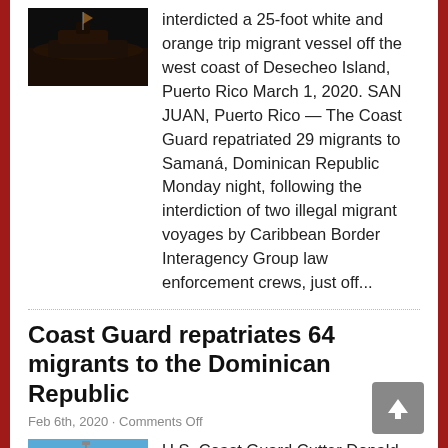[Figure (photo): Small dark boat/vessel photo, appears to be a nighttime or low-light image of a migrant vessel]
interdicted a 25-foot white and orange trip migrant vessel off the west coast of Desecheo Island, Puerto Rico March 1, 2020. SAN JUAN, Puerto Rico — The Coast Guard repatriated 29 migrants to Samaná, Dominican Republic Monday night, following the interdiction of two illegal migrant voyages by Caribbean Border Interagency Group law enforcement crews, just off...
Coast Guard repatriates 64 migrants to the Dominican Republic
Feb 6th, 2020 · Comments Off
[Figure (photo): U.S. Coast Guard Cutter Donald Horsley photo — white Coast Guard cutter vessel on blue water]
U.S. Coast Guard Cutter Donald Horsley File Photo SAN JUAN, Puerto Rico — The Coast Guard repatriated 64 migrants to the Dominican Republic between Wednesday and Thursday, following the interdiction of an illegal migrant voyage Monday, approximately 51 nautical miles north of Punta Cana, Dominican Republic.